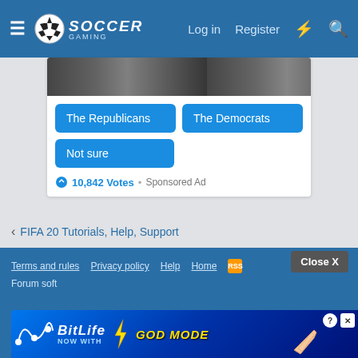Soccer Gaming — Log in  Register
[Figure (screenshot): Poll widget with two blue buttons: 'The Republicans' and 'The Democrats', plus a 'Not sure' button, and a vote count of 10,842 Votes · Sponsored Ad]
10,842 Votes · Sponsored Ad
‹ FIFA 20 Tutorials, Help, Support
Terms and rules  Privacy policy  Help  Home  [RSS icon]
Forum software
[Figure (screenshot): BitLife advertisement banner: 'NOW WITH GOD MODE' with close and help buttons]
Close X